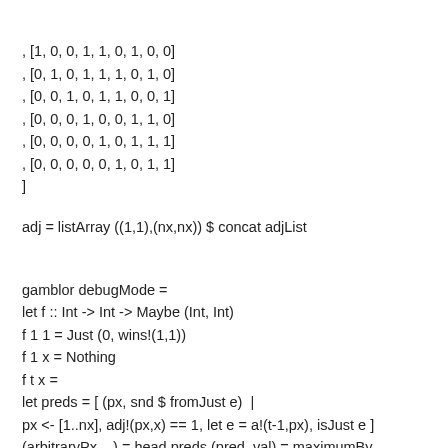, [1, 0, 0, 1, 1, 0, 1, 0, 0]
, [0, 1, 0, 1, 1, 1, 0, 1, 0]
, [0, 0, 1, 0, 1, 1, 0, 0, 1]
, [0, 0, 0, 1, 0, 0, 1, 1, 0]
, [0, 0, 0, 0, 1, 0, 1, 1, 1]
, [0, 0, 0, 0, 0, 1, 0, 1, 1]
]
adj = listArray ((1,1),(nx,nx)) $ concat adjList
gamblor debugMode =
let f :: Int -> Int -> Maybe (Int, Int)
f 1 1 = Just (0, wins!(1,1))
f 1 x = Nothing
f t x =
let preds = [ (px, snd $ fromJust e)  |
px <- [1..nx], adj!(px,x) == 1, let e = a!(t-1,px), isJust e ]
(arbitraryPx, _) = head preds (pred, val) = maximumBy
(compareBy snd) ([(arbitraryPx, 0)] ++ preds) in if null preds